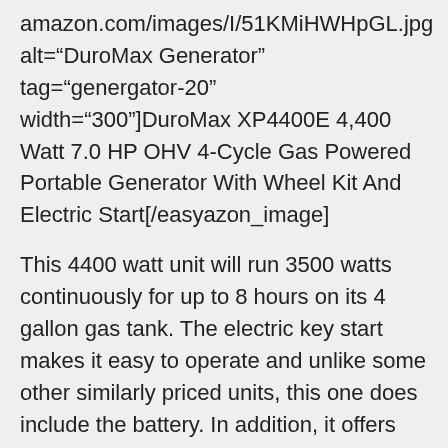amazon.com/images/I/51KMiHWHpGL.jpg alt="DuroMax Generator" tag="genergator-20" width="300"]DuroMax XP4400E 4,400 Watt 7.0 HP OHV 4-Cycle Gas Powered Portable Generator With Wheel Kit And Electric Start[/easyazon_image]
This 4400 watt unit will run 3500 watts continuously for up to 8 hours on its 4 gallon gas tank. The electric key start makes it easy to operate and unlike some other similarly priced units, this one does include the battery. In addition, it offers low emissions, is EPA approved and will shut off when not enough oil is detected in the engine, protecting it from becoming damaged. The 7 hp engine combined with the easy to use controls makes this a great choice for outdoor use.
The next one has considerably more heft as this portable dual fuel generator with power is currently 40% off.